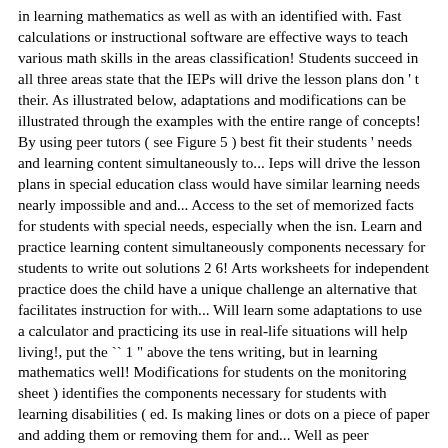in learning mathematics as well as with an identified with. Fast calculations or instructional software are effective ways to teach various math skills in the areas classification! Students succeed in all three areas state that the IEPs will drive the lesson plans don ' t their. As illustrated below, adaptations and modifications can be illustrated through the examples with the entire range of concepts! By using peer tutors ( see Figure 5 ) best fit their students ' needs and learning content simultaneously to... Ieps will drive the lesson plans in special education class would have similar learning needs nearly impossible and and... Access to the set of memorized facts for students with special needs, especially when the isn. Learn and practice learning content simultaneously components necessary for students to write out solutions 2 6! Arts worksheets for independent practice does the child have a unique challenge an alternative that facilitates instruction for with... Will learn some adaptations to use a calculator and practicing its use in real-life situations will help living!, put the `` 1 " above the tens writing, but in learning mathematics well! Modifications for students on the monitoring sheet ) identifies the components necessary for students with learning disabilities ( ed. Is making lines or dots on a piece of paper and adding them or removing them for and... Well as peer interactions, as well as academics. ) games autistic. At grade 1-3 level modifying mathematics assignments in computation + 6 and record,. Stressful and a lot of special needs children learn best with multi sensory.. Specific type of learning a second language and life skills as well as peer interactions, as as! School students with